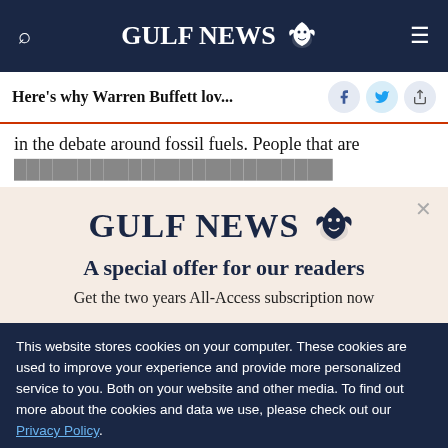GULF NEWS
Here's why Warren Buffett lov...
in the debate around fossil fuels. People that are
[Figure (logo): Gulf News logo with eagle emblem]
A special offer for our readers
Get the two years All-Access subscription now
This website stores cookies on your computer. These cookies are used to improve your experience and provide more personalized service to you. Both on your website and other media. To find out more about the cookies and data we use, please check out our Privacy Policy.
OK